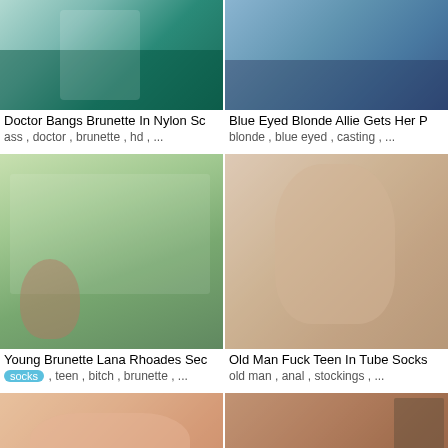[Figure (photo): Video thumbnail showing person in medical setting with nylon stockings]
[Figure (photo): Video thumbnail showing blue eyed blonde]
Doctor Bangs Brunette In Nylon Sc
Blue Eyed Blonde Allie Gets Her P
ass , doctor , brunette , hd , ...
blonde , blue eyed , casting , ...
[Figure (photo): Video thumbnail showing young brunette Lana Rhoades at outdoor dining table with others]
[Figure (photo): Video thumbnail showing young woman with brown hair in white shirt gesturing]
Young Brunette Lana Rhoades Sec
Old Man Fuck Teen In Tube Socks
socks , teen , bitch , brunette , ...
old man , anal , stockings , ...
[Figure (photo): Video thumbnail showing close-up adult content]
[Figure (photo): Video thumbnail showing adult content in room with shelving]